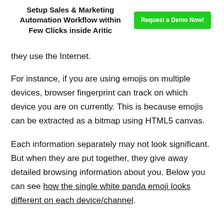Setup Sales & Marketing Automation Workflow within Few Clicks inside Aritic
they use the Internet.
For instance, if you are using emojis on multiple devices, browser fingerprint can track on which device you are on currently. This is because emojis can be extracted as a bitmap using HTML5 canvas.
Each information separately may not look significant. But when they are put together, they give away detailed browsing information about you. Below you can see how the single white panda emoji looks different on each device/channel.